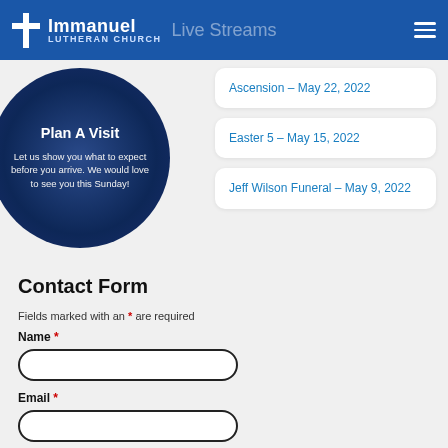Immanuel Lutheran Church — Live Streams
[Figure (photo): Plan A Visit circular image with dark blue overlay and white text: 'Plan A Visit — Let us show you what to expect before you arrive. We would love to see you this Sunday!']
Ascension – May 22, 2022
Easter 5 – May 15, 2022
Jeff Wilson Funeral – May 9, 2022
Contact Form
Fields marked with an * are required
Name *
Email *
Phone